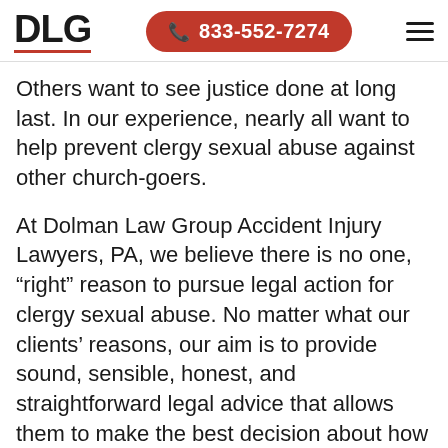DLG | 833-552-7274
Others want to see justice done at long last. In our experience, nearly all want to help prevent clergy sexual abuse against other church-goers.
At Dolman Law Group Accident Injury Lawyers, PA, we believe there is no one, “right” reason to pursue legal action for clergy sexual abuse. No matter what our clients’ reasons, our aim is to provide sound, sensible, honest, and straightforward legal advice that allows them to make the best decision about how to proceed, and what recourse to seek. Among the options